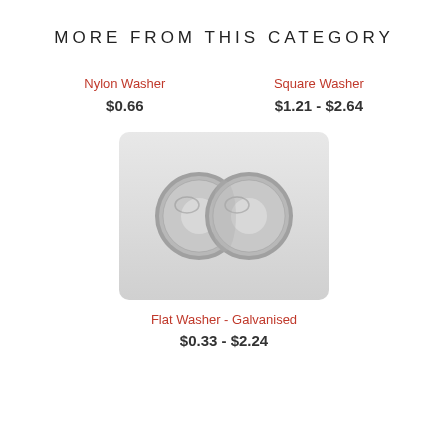MORE FROM THIS CATEGORY
Nylon Washer
$0.66
Square Washer
$1.21 - $2.64
[Figure (photo): Two galvanised flat washers photographed on a light grey rounded background]
Flat Washer - Galvanised
$0.33 - $2.24